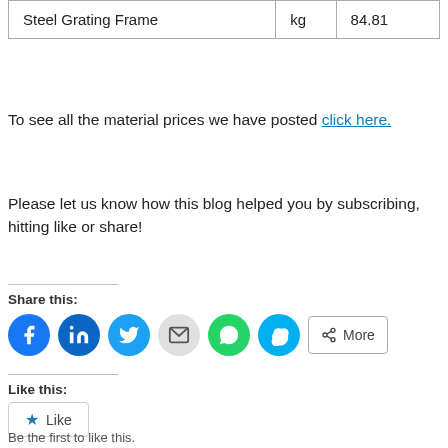|  |  |  |
| --- | --- | --- |
| Steel Grating Frame | kg | 84.81 |
To see all the material prices we have posted click here.
Please let us know how this blog helped you by subscribing, hitting like or share!
Share this:
[Figure (other): Social share buttons: Facebook, LinkedIn, Twitter, Email, WhatsApp, Skype, More]
Like this:
[Figure (other): Like button widget]
Be the first to like this.